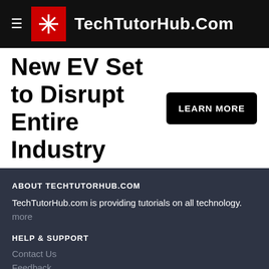TechTutorHub.Com
New EV Set to Disrupt Entire Industry
ABOUT TECHTUTORHUB.COM
TechTutorHub.com is providing tutorials on all technology.
more
HELP & SUPPORT
Contact Us
Feedback